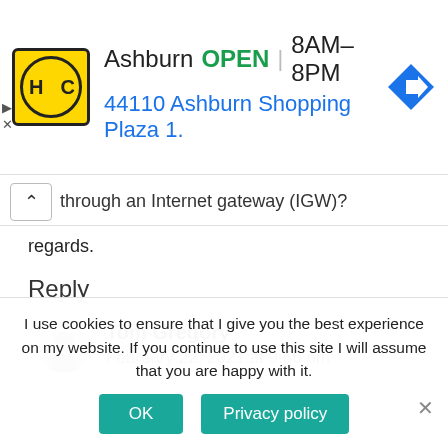[Figure (infographic): Advertisement banner for HC (Honest Cash or similar) store in Ashburn. Shows logo (yellow circle with HC), store name, OPEN status, hours 8AM-8PM, address 44110 Ashburn Shopping Plaza 1., and a blue navigation arrow icon.]
through an Internet gateway (IGW)?
regards.
Reply
[Figure (illustration): User avatar placeholder – grey circle with silhouette icon for commenter Tom Gregory]
Tom Gregory
February 22, 2021 at 9:56 pm
I use cookies to ensure that I give you the best experience on my website. If you continue to use this site I will assume that you are happy with it.
OK
Privacy policy